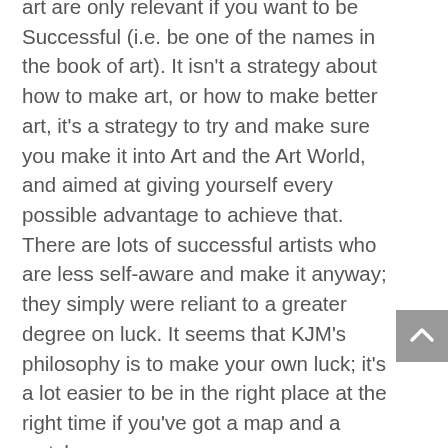art are only relevant if you want to be Successful (i.e. be one of the names in the book of art). It isn't a strategy about how to make art, or how to make better art, it's a strategy to try and make sure you make it into Art and the Art World, and aimed at giving yourself every possible advantage to achieve that. There are lots of successful artists who are less self-aware and make it anyway; they simply were reliant to a greater degree on luck. It seems that KJM's philosophy is to make your own luck; it's a lot easier to be in the right place at the right time if you've got a map and a watch.

(re: cave paintings- they weren't commodities, but neither did the cave men need them as a source of income. If your finances and personal sense of well-being are independent of the approbation of the